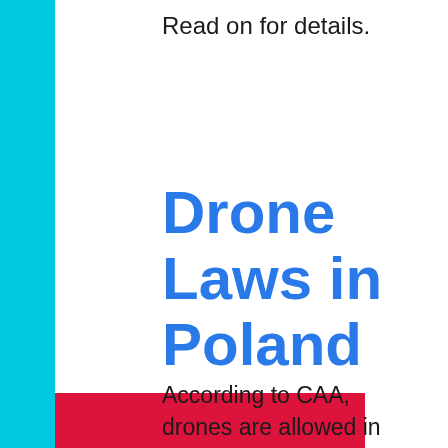Read on for details.
Drone Laws in Poland
According to CAA, drones are allowed in Poland, subject to CAA and EASA...